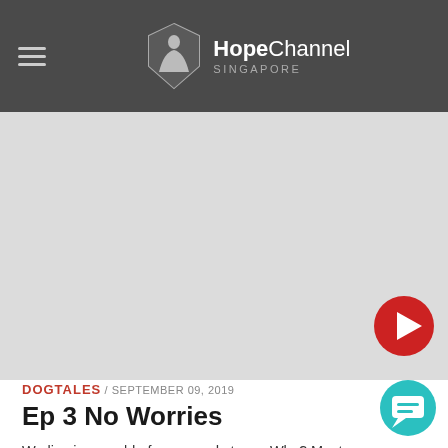HopeChannel SINGAPORE
[Figure (screenshot): Video thumbnail placeholder - light grey rectangle area representing a video player]
[Figure (other): Red circular play button icon]
DOGTALES / SEPTEMBER 09, 2019
Ep 3 No Worries
We live in a world of worry and stress. Why? Most concerns never even eventuate! Cyrus never worries. Why? Because he trusts us to fulfill his simple needs. Imagine if all of us had that sort of trust in the one we love?